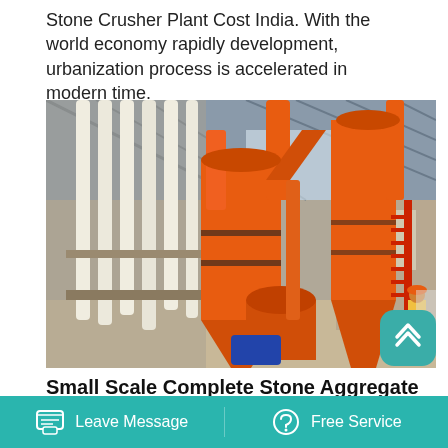Stone Crusher Plant Cost India. With the world economy rapidly development, urbanization process is accelerated in modern time.
[Figure (photo): Industrial stone crusher plant with orange-painted cyclone separators and conical hoppers inside a large warehouse/factory building. White flexible tubes hang on the left, and a worker in orange hard hat is visible on the right near a red staircase.]
Small Scale Complete Stone Aggregate
Leave Message   Free Service